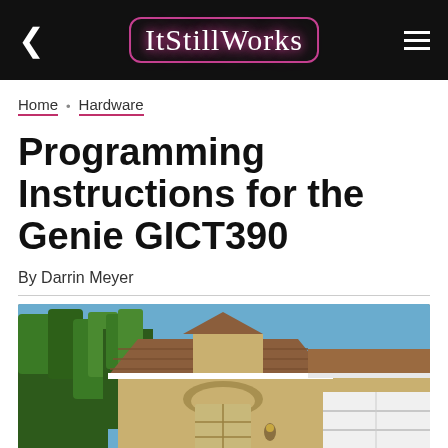ItStillWorks
Home • Hardware
Programming Instructions for the Genie GICT390
By Darrin Meyer
[Figure (photo): Exterior photo of a Florida-style stucco house with a brown shingle roof, arched windows, garage door, and palm trees in the background under a blue sky.]